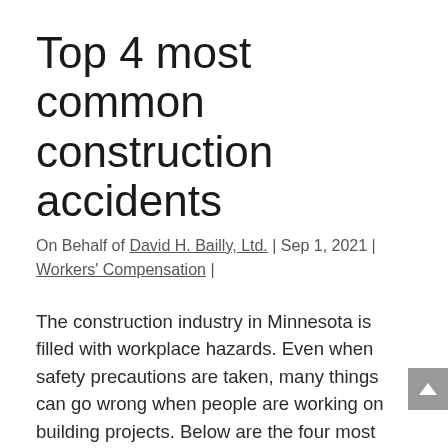Top 4 most common construction accidents
On Behalf of David H. Bailly, Ltd. | Sep 1, 2021 | Workers' Compensation |
The construction industry in Minnesota is filled with workplace hazards. Even when safety precautions are taken, many things can go wrong when people are working on building projects. Below are the four most common types of construction accidents.